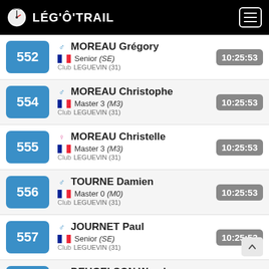LÉG'Ô'TRAIL
552 ♂ MOREAU Grégory | Senior (SE) | Club LEGUEVIN (31) | 10:25:53
554 ♂ MOREAU Christophe | Master 3 (M3) | Club LEGUEVIN (31) | 10:25:53
555 ♀ MOREAU Christelle | Master 3 (M3) | Club LEGUEVIN (31) | 10:25:53
556 ♂ TOURNE Damien | Master 0 (M0) | Club LEGUEVIN (31) | 10:25:53
557 ♂ JOURNET Paul | Senior (SE) | Club LEGUEVIN (31) | 10:25:53
... ♀ DEUGELSON Wendy (partial)